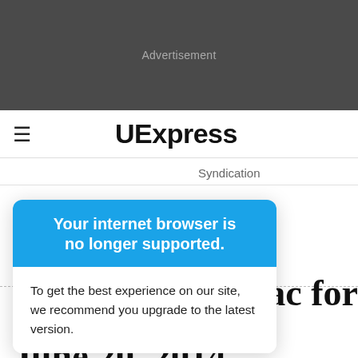[Figure (other): Advertisement banner — dark gray background with light gray 'Advertisement' label]
≡ UExpress
Syndication
Your internet browser is no longer supported.
To get the best experience on our site, we recommend you upgrade to the latest version.
anac for
June 20, 2014